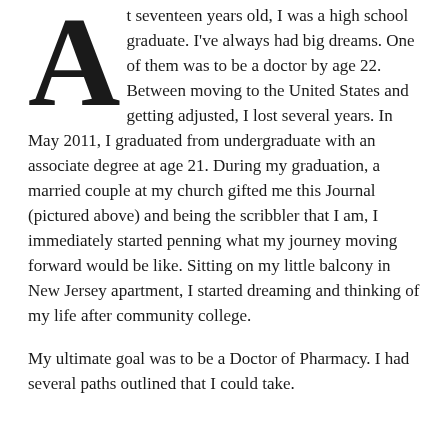At seventeen years old, I was a high school graduate. I've always had big dreams. One of them was to be a doctor by age 22. Between moving to the United States and getting adjusted, I lost several years. In May 2011, I graduated from undergraduate with an associate degree at age 21. During my graduation, a married couple at my church gifted me this Journal (pictured above) and being the scribbler that I am, I immediately started penning what my journey moving forward would be like. Sitting on my little balcony in New Jersey apartment, I started dreaming and thinking of my life after community college.
My ultimate goal was to be a Doctor of Pharmacy. I had several paths outlined that I could take.